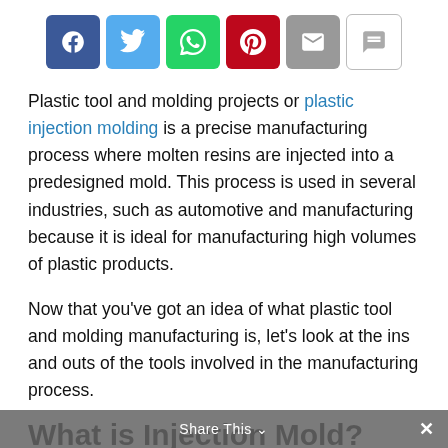[Figure (other): Social share buttons bar: Facebook (blue), Twitter (light blue), WhatsApp (green), Pinterest (red), Email (grey), Comment (white/outline)]
Plastic tool and molding projects or plastic injection molding is a precise manufacturing process where molten resins are injected into a predesigned mold. This process is used in several industries, such as automotive and manufacturing because it is ideal for manufacturing high volumes of plastic products.
Now that you've got an idea of what plastic tool and molding manufacturing is, let's look at the ins and outs of the tools involved in the manufacturing process.
What is Injection Mold?
An injection mold is a custom-machined tool used in the plastic injection molding process to shape molten plastic into finished items. These molds are created by manufacturers for specialized plastic goods.
Share This